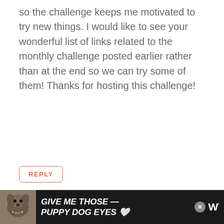so the challenge keeps me motivated to try new things. I would like to see your wonderful list of links related to the monthly challenge posted earlier rather than at the end so we can try some of them! Thanks for hosting this challenge!
REPLY
[Figure (other): Decorative bordered box with teal cursive/script text reading 'Work with Marisa']
[Figure (other): Advertisement banner with dark background, dog photo, and text 'GIVE ME THOSE PUPPY DOG EYES' in white bold italic, with close button and logo]